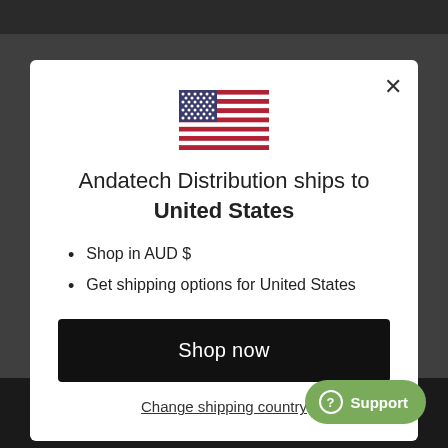Free shipping within Australia for orders over $500
[Figure (illustration): US flag emoji/icon centered in modal]
Andatech Distribution ships to United States
Shop in AUD $
Get shipping options for United States
Shop now
Change shipping country
Support